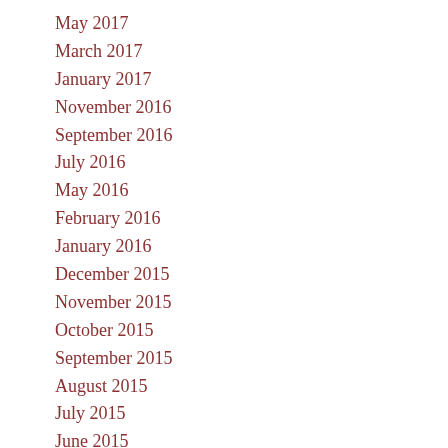May 2017
March 2017
January 2017
November 2016
September 2016
July 2016
May 2016
February 2016
January 2016
December 2015
November 2015
October 2015
September 2015
August 2015
July 2015
June 2015